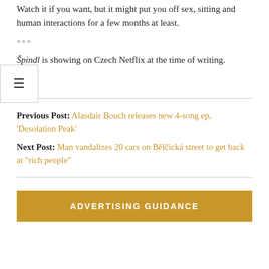Watch it if you want, but it might put you off sex, sitting and human interactions for a few months at least.
***
Špindl is showing on Czech Netflix at the time of writing.
Previous Post: Alasdair Bouch releases new 4-song ep, 'Desolation Peak'
Next Post: Man vandalizes 20 cars on Bělčická street to get back at "rich people"
ADVERTISING GUIDANCE